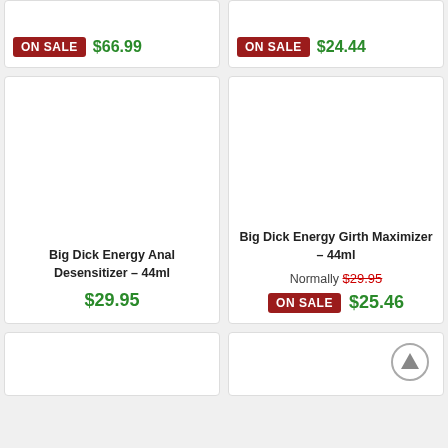ON SALE  $66.99
ON SALE  $24.44
Big Dick Energy Anal Desensitizer – 44ml
$29.95
Big Dick Energy Girth Maximizer – 44ml
Normally $29.95
ON SALE  $25.46